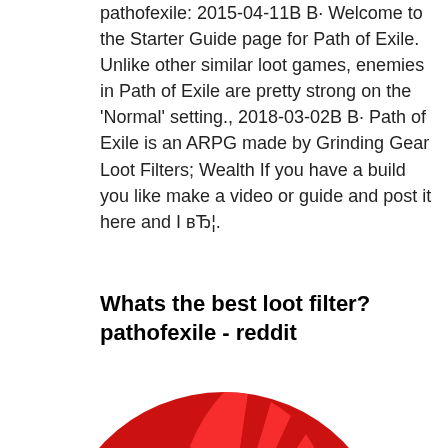pathofexile: 2015-04-11В В· Welcome to the Starter Guide page for Path of Exile. Unlike other similar loot games, enemies in Path of Exile are pretty strong on the 'Normal' setting., 2018-03-02В В· Path of Exile is an ARPG made by Grinding Gear Loot Filters; Wealth If you have a build you like make a video or guide and post it here and I вЂ¦.
Whats the best loot filter? pathofexile - reddit
[Figure (illustration): Circular red and white sunburst background with a dark cartoon character (appears to be a ninja or masked figure with dark hair) in the center, partially cropped at the bottom of the page.]